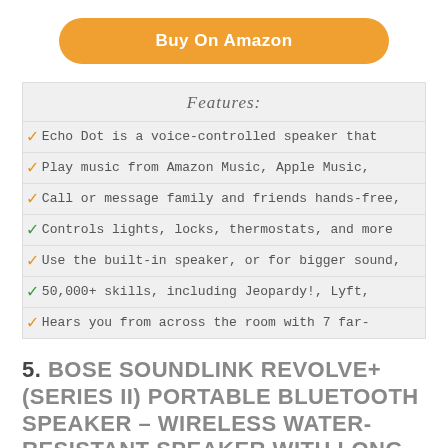[Figure (other): Orange rounded button labeled 'Buy On Amazon']
Features:
Echo Dot is a voice-controlled speaker that
Play music from Amazon Music, Apple Music,
Call or message family and friends hands-free,
Controls lights, locks, thermostats, and more
Use the built-in speaker, or for bigger sound,
50,000+ skills, including Jeopardy!, Lyft,
Hears you from across the room with 7 far-
5. BOSE SOUNDLINK REVOLVE+ (SERIES II) PORTABLE BLUETOOTH SPEAKER – WIRELESS WATER-RESISTANT SPEAKER WITH LONG-LASTING BATTERY AND HANDLE